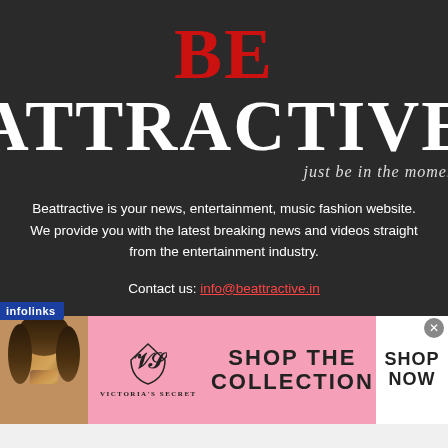BE ATTRACTIVE — just be in the moment
Beattractive is your news, entertainment, music fashion website. We provide you with the latest breaking news and videos straight from the entertainment industry.
Contact us: info@beattractive.in
[Figure (infographic): Social media icons: Facebook, Google+, Instagram, LinkedIn, Twitter, YouTube]
[Figure (infographic): Advertisement banner: infolinks badge, Victoria's Secret ad with model photo, VS logo, SHOP THE COLLECTION text, SHOP NOW button]